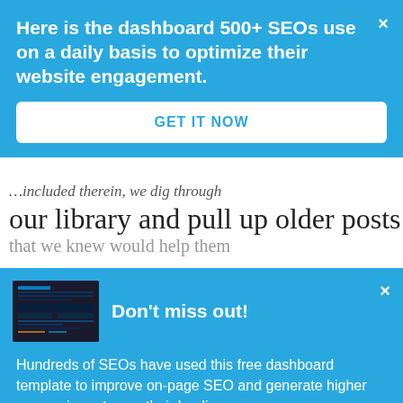Here is the dashboard 500+ SEOs use on a daily basis to optimize their website engagement.
GET IT NOW
our library and pull up older posts
Don't miss out!
Hundreds of SEOs have used this free dashboard template to improve on-page SEO and generate higher conversion rates on their landing pages.
GET FREE DASHBOARD